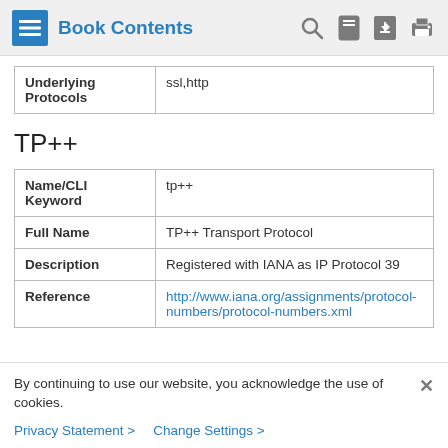Book Contents
| Underlying Protocols | ssl,http |
| --- | --- |
TP++
| Field | Value |
| --- | --- |
| Name/CLI Keyword | tp++ |
| Full Name | TP++ Transport Protocol |
| Description | Registered with IANA as IP Protocol 39 |
| Reference | http://www.iana.org/assignments/protocol-numbers/protocol-numbers.xml |
By continuing to use our website, you acknowledge the use of cookies.
Privacy Statement > Change Settings >